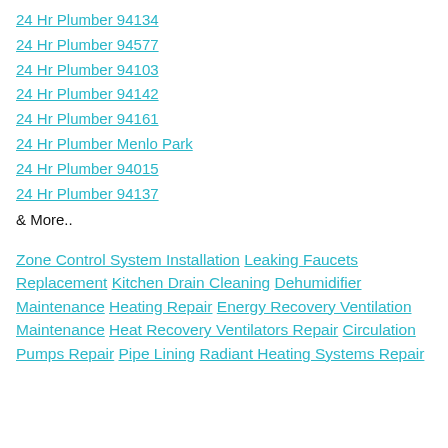24 Hr Plumber 94134
24 Hr Plumber 94577
24 Hr Plumber 94103
24 Hr Plumber 94142
24 Hr Plumber 94161
24 Hr Plumber Menlo Park
24 Hr Plumber 94015
24 Hr Plumber 94137
& More..
Zone Control System Installation Leaking Faucets Replacement Kitchen Drain Cleaning Dehumidifier Maintenance Heating Repair Energy Recovery Ventilation Maintenance Heat Recovery Ventilators Repair Circulation Pumps Repair Pipe Lining Radiant Heating Systems Repair